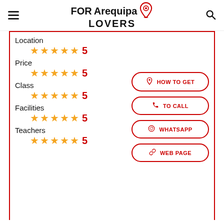FOR Arequipa LOVERS
Location — 5 stars — 5
Price — 5 stars — 5
Class — 5 stars — 5
Facilities — 5 stars — 5
Teachers — 5 stars — 5
HOW TO GET
TO CALL
WHATSAPP
WEB PAGE